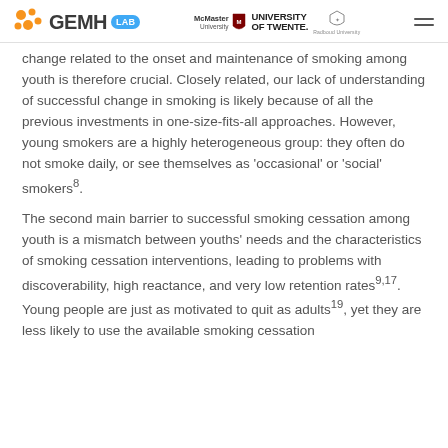GEMH LAB | McMaster University | University of Twente | Radboud University
change related to the onset and maintenance of smoking among youth is therefore crucial. Closely related, our lack of understanding of successful change in smoking is likely because of all the previous investments in one-size-fits-all approaches. However, young smokers are a highly heterogeneous group: they often do not smoke daily, or see themselves as 'occasional' or 'social' smokers8.
The second main barrier to successful smoking cessation among youth is a mismatch between youths' needs and the characteristics of smoking cessation interventions, leading to problems with discoverability, high reactance, and very low retention rates9,17. Young people are just as motivated to quit as adults19, yet they are less likely to use the available smoking cessation